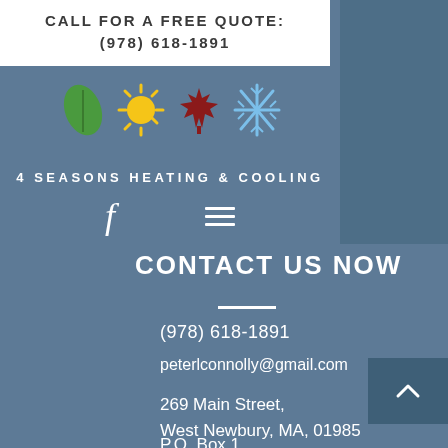CALL FOR A FREE QUOTE:
(978) 618-1891
[Figure (infographic): Four season icons: green leaf (spring), yellow sun (summer), red maple leaf (fall), blue snowflake (winter)]
4 SEASONS HEATING & COOLING
[Figure (infographic): Facebook icon (f) and hamburger menu icon (three horizontal lines) in white on blue-gray background]
CONTACT US NOW
(978) 618-1891
peterlconnolly@gmail.com
269 Main Street,
West Newbury, MA, 01985
P.O. Box 1